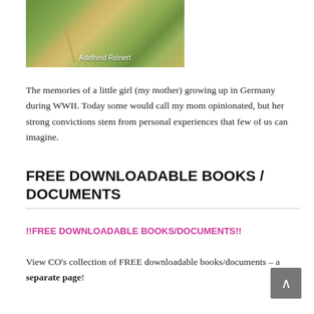[Figure (photo): Aerial photograph of farmland/fields with a road, labeled 'Adelheid Reinert' in white text overlay]
The memories of a little girl (my mother) growing up in Germany during WWII. Today some would call my mom opinionated, but her strong convictions stem from personal experiences that few of us can imagine.
FREE DOWNLOADABLE BOOKS / DOCUMENTS
!!FREE DOWNLOADABLE BOOKS/DOCUMENTS!!
View CO's collection of FREE downloadable books/documents – a separate page!